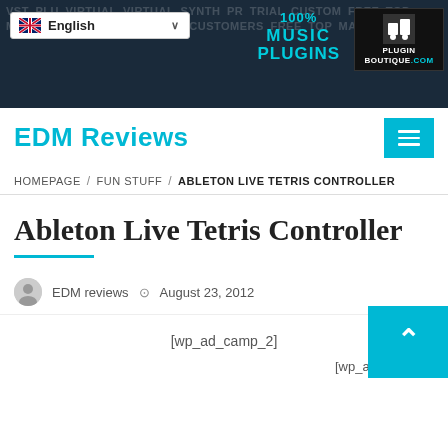[Figure (screenshot): Plugin Boutique website header banner with dark blue background, language selector showing English with UK flag, '100% Music Plugins' text in cyan, and Plugin Boutique logo in top right]
EDM Reviews
[Figure (other): Hamburger menu button in cyan/teal square]
HOMEPAGE / FUN STUFF / ABLETON LIVE TETRIS CONTROLLER
Ableton Live Tetris Controller
EDM reviews  August 23, 2012
[wp_ad_camp_2]
[wp_ad_camp_1]